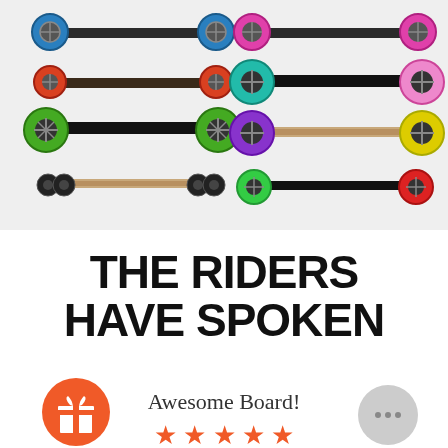[Figure (photo): Eight electric skateboards shown from the side in two columns of four rows, each with colorful wheels: blue, red/orange, green, black (left column); pink, teal/blue, purple/yellow, green/red (right column). Background is light gray.]
THE RIDERS HAVE SPOKEN
[Figure (illustration): Orange circle with white gift/present box icon]
Awesome Board!
[Figure (illustration): Gray circle with three dots (chat bubble icon)]
★★★★★